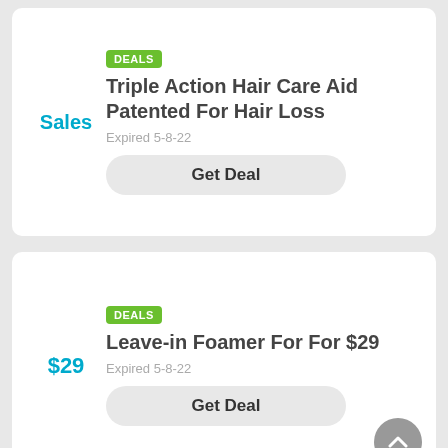Sales
DEALS
Triple Action Hair Care Aid Patented For Hair Loss
Expired 5-8-22
Get Deal
$29
DEALS
Leave-in Foamer For For $29
Expired 5-8-22
Get Deal
DEALS